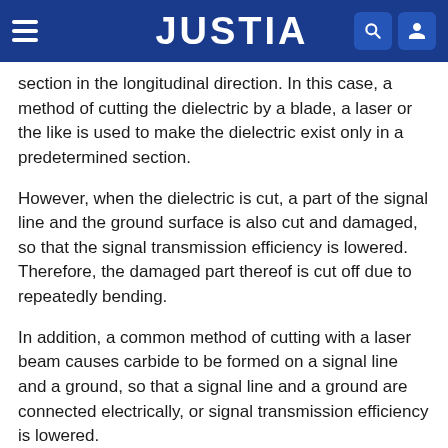JUSTIA
section in the longitudinal direction. In this case, a method of cutting the dielectric by a blade, a laser or the like is used to make the dielectric exist only in a predetermined section.
However, when the dielectric is cut, a part of the signal line and the ground surface is also cut and damaged, so that the signal transmission efficiency is lowered. Therefore, the damaged part thereof is cut off due to repeatedly bending.
In addition, a common method of cutting with a laser beam causes carbide to be formed on a signal line and a ground, so that a signal line and a ground are connected electrically, or signal transmission efficiency is lowered.
On the other hand, flexible circuit board makes sure of the necessary amount of signals by the means of